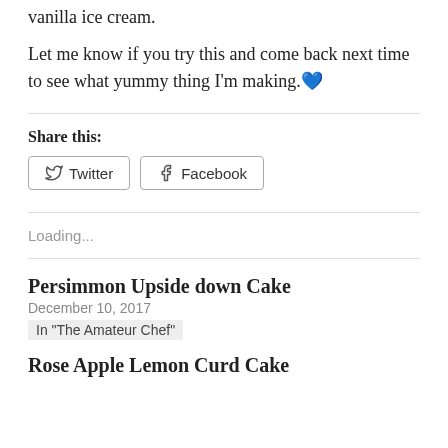vanilla ice cream.
Let me know if you try this and come back next time to see what yummy thing I'm making. 💙
Share this:
Twitter  Facebook
Loading...
Persimmon Upside down Cake
December 10, 2017
In "The Amateur Chef"
Rose Apple Lemon Curd Cake